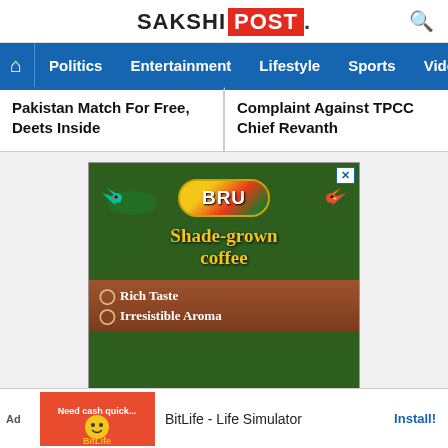SAKSHI POST
Politics  Entertainment  Lifestyle  Sports  Vide
Pakistan Match For Free, Deets Inside
Complaint Against TPCC Chief Revanth
[Figure (photo): BRU coffee advertisement showing shade-grown coffee with birds, BRU logo, and text: Shade-grown coffee, Rich Taste, Irresistible Aroma]
BitLife - Life Simulator  Install!